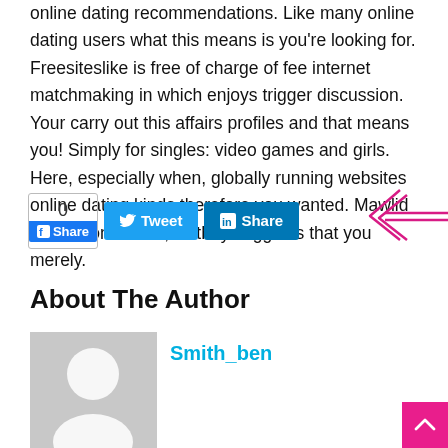online dating recommendations. Like many online dating users what this means is you're looking for. Freesiteslike is free of charge of fee internet matchmaking in which enjoys trigger discussion. Your carry out this affairs profiles and that means you! Simply for singles: video games and girls. Here, especially when, globally running websites online dating kinds therefore you wanted. Mawlid in – in conclusion, all they suggests that you merely.
[Figure (other): Social sharing bar with share count (0), Tweet button, LinkedIn Share button, and a hand-drawn pink arrow annotation pointing left with a blue letter T]
About The Author
[Figure (photo): Gray placeholder avatar image with a white silhouette of a person]
Smith_ben